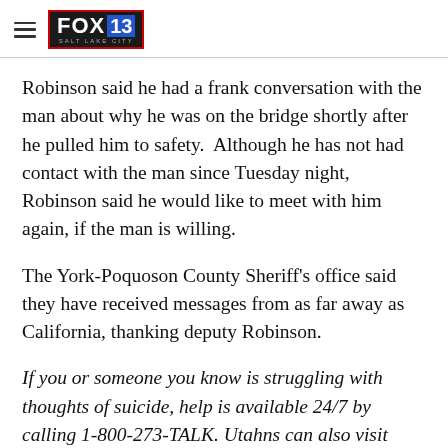FOX 13 SALT LAKE CITY
Robinson said he had a frank conversation with the man about why he was on the bridge shortly after he pulled him to safety.  Although he has not had contact with the man since Tuesday night, Robinson said he would like to meet with him again, if the man is willing.
The York-Poquoson County Sheriff's office said they have received messages from as far away as California, thanking deputy Robinson.
If you or someone you know is struggling with thoughts of suicide, help is available 24/7 by calling 1-800-273-TALK. Utahns can also visit Hope4Utah and